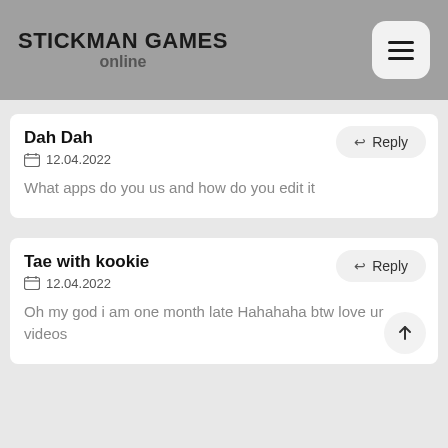STICKMAN GAMES online
Dah Dah
12.04.2022
What apps do you us and how do you edit it
Tae with kookie
12.04.2022
Oh my god i am one month late Hahahaha btw love ur videos